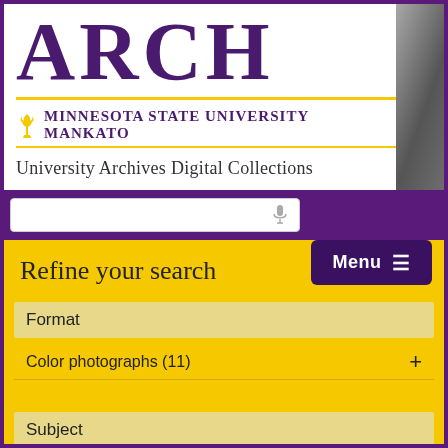ARCH
[Figure (logo): Minnesota State University Mankato logo with torch/flame icon]
Minnesota State University Mankato
University Archives Digital Collections
[Figure (screenshot): Search input box with microphone icon on purple background]
Menu ≡
Refine your search
Format
Color photographs (11)
Subject
Children (1)